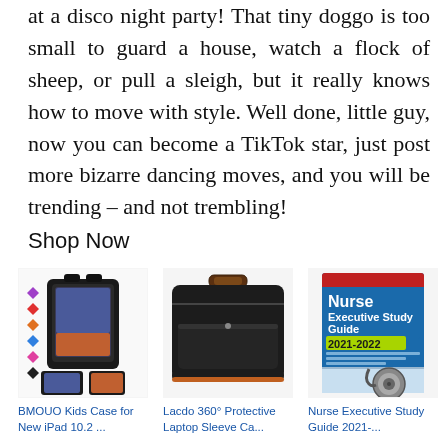at a disco night party! That tiny doggo is too small to guard a house, watch a flock of sheep, or pull a sleigh, but it really knows how to move with style. Well done, little guy, now you can become a TikTok star, just post more bizarre dancing moves, and you will be trending – and not trembling!
Shop Now
[Figure (photo): BMOUO Kids Case for New iPad 10.2 product image with colorful diamond dots on left side]
BMOUO Kids Case for New iPad 10.2 ...
[Figure (photo): Lacdo 360 Protective Laptop Sleeve Case - black sleeve with orange handle]
Lacdo 360° Protective Laptop Sleeve Ca...
[Figure (photo): Nurse Executive Study Guide 2021-2022 book cover with blue background and stethoscope]
Nurse Executive Study Guide 2021-...